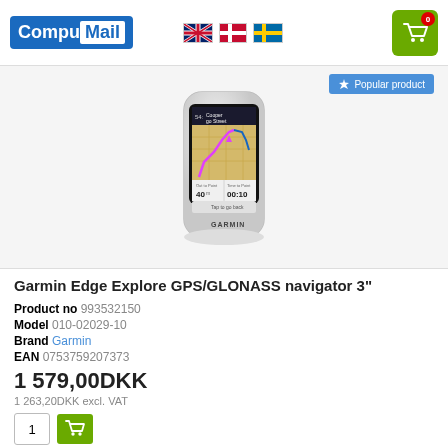[Figure (logo): CompuMail logo — blue background with white text 'Compu' and white box with blue 'Mail']
[Figure (illustration): Garmin Edge Explore GPS/GLONASS navigator device showing a map on screen with route and distance/time info]
Garmin Edge Explore GPS/GLONASS navigator 3"
Product no 993532150
Model 010-02029-10
Brand Garmin
EAN 0753759207373
1 579,00DKK
1 263,20DKK excl. VAT
15 pcs in stock (Delivery 23-08 )